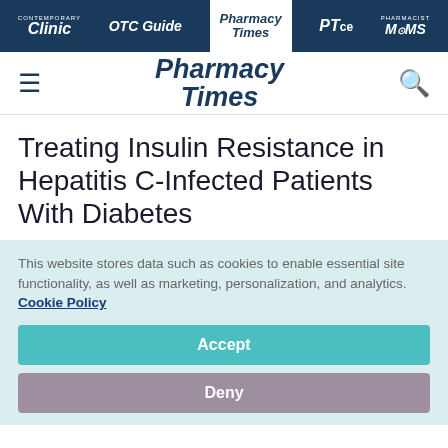Contemporary Clinic | OTC Guide | Pharmacy Times | PTce | Pharmacist Moms
[Figure (logo): Pharmacy Times logo with hamburger menu and search icon in main navigation header]
Treating Insulin Resistance in Hepatitis C-Infected Patients With Diabetes
This website stores data such as cookies to enable essential site functionality, as well as marketing, personalization, and analytics. Cookie Policy
Accept
Deny